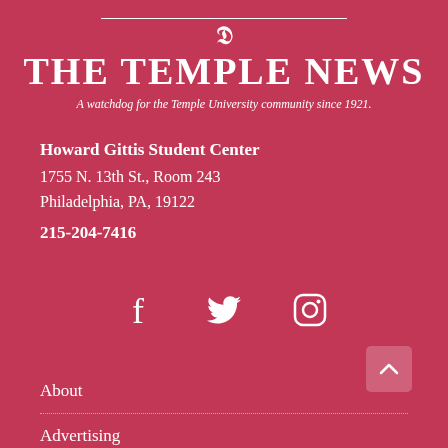THE TEMPLE NEWS
A watchdog for the Temple University community since 1921.
Howard Gittis Student Center
1755 N. 13th St., Room 243
Philadelphia, PA, 19122
215-204-7416
[Figure (infographic): Social media icons: Facebook, Twitter, Instagram]
About
Advertising
Jobs
Contact Us